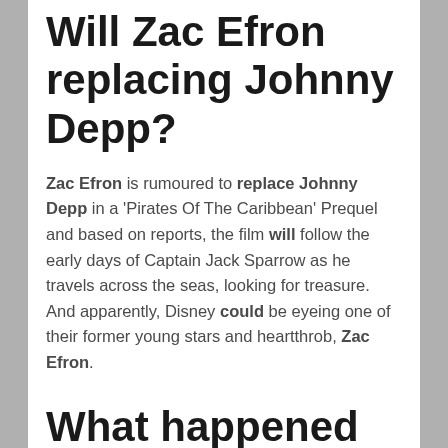Will Zac Efron replacing Johnny Depp?
Zac Efron is rumoured to replace Johnny Depp in a 'Pirates Of The Caribbean' Prequel and based on reports, the film will follow the early days of Captain Jack Sparrow as he travels across the seas, looking for treasure. And apparently, Disney could be eyeing one of their former young stars and heartthrob, Zac Efron.
What happened to the Black Pearl in Pirates 4?